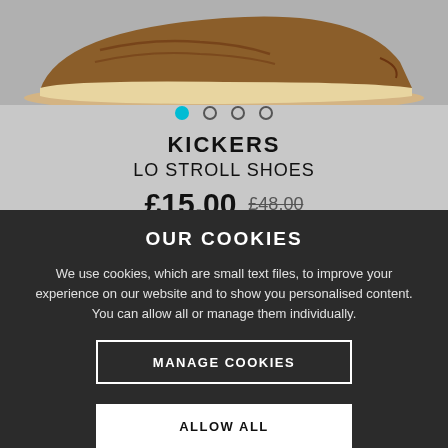[Figure (photo): Kickers Lo Stroll shoe product image showing the sole and bottom of the shoe, tan/brown color on grey background]
KICKERS
LO STROLL SHOES
£15.00  £48.00
OUR COOKIES
We use cookies, which are small text files, to improve your experience on our website and to show you personalised content. You can allow all or manage them individually.
MANAGE COOKIES
ALLOW ALL